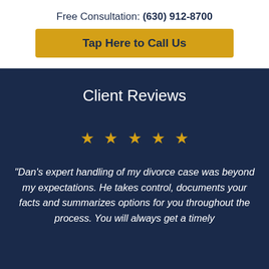Free Consultation: (630) 912-8700
Tap Here to Call Us
Client Reviews
[Figure (other): Five gold star rating icons in a row]
"Dan's expert handling of my divorce case was beyond my expectations. He takes control, documents your facts and summarizes options for you throughout the process. You will always get a timely